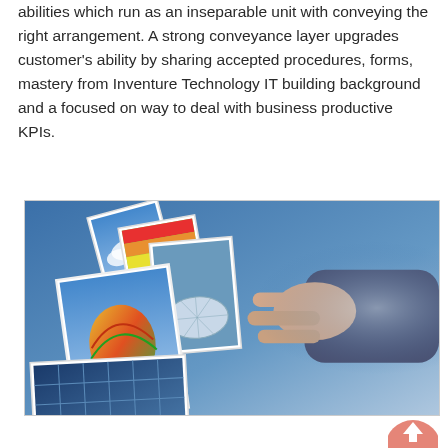abilities which run as an inseparable unit with conveying the right arrangement. A strong conveyance layer upgrades customer's ability by sharing accepted procedures, forms, mastery from Inventure Technology IT building background and a focused on way to deal with business productive KPIs.
[Figure (photo): A hand reaching toward a cascade of digital image panels/screens floating in a blue-toned digital space, showing photos of a hot air balloon, clouds, solar panels, and a dome structure. Represents digital technology and media selection.]